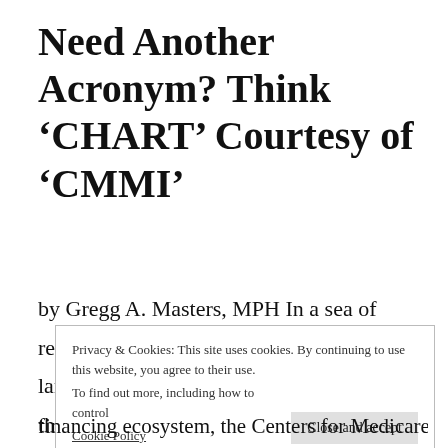Need Another Acronym? Think ‘CHART’ Courtesy of ‘CMMI’
by Gregg A. Masters, MPH In a sea of relentless ‘acronym soup’ that peppers the landscape and too often separates us from the constituency we ostensibly serve (patients) via
Privacy & Cookies: This site uses cookies. By continuing to use this website, you agree to their use. To find out more, including how to control Cookie Policy
financing ecosystem, the Centers for Medicare